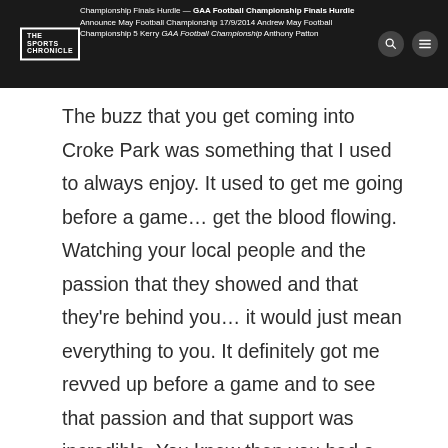The Sports Chronicle — Championship header navigation text including links and Andrew Paton
The buzz that you get coming into Croke Park was something that I used to always enjoy. It used to get me going before a game… get the blood flowing. Watching your local people and the passion that they showed and that they're behind you… it would just mean everything to you. It definitely got me revved up before a game and to see that passion and that support was incredible. You knew then you had a game on.